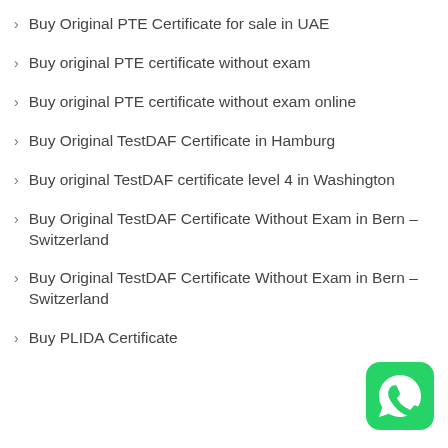Buy Original PTE Certificate for sale in UAE
Buy original PTE certificate without exam
Buy original PTE certificate without exam online
Buy Original TestDAF Certificate in Hamburg
Buy original TestDAF certificate level 4 in Washington
Buy Original TestDAF Certificate Without Exam in Bern – Switzerland
Buy Original TestDAF Certificate Without Exam in Bern – Switzerland
Buy PLIDA Certificate
[Figure (logo): WhatsApp logo icon — green rounded square with white phone handset symbol]